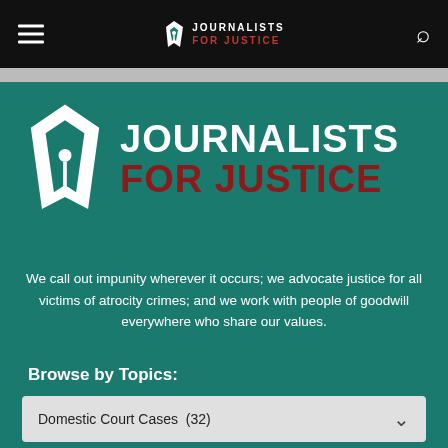JOURNALISTS FOR JUSTICE
[Figure (logo): Journalists for Justice logo — large white pen nib icon with JOURNALISTS in white and FOR JUSTICE in dark red on teal background]
We call out impunity wherever it occurs; we advocate justice for all victims of atrocity crimes; and we work with people of goodwill everywhere who share our values.
Browse by Topics:
Domestic Court Cases  (32)